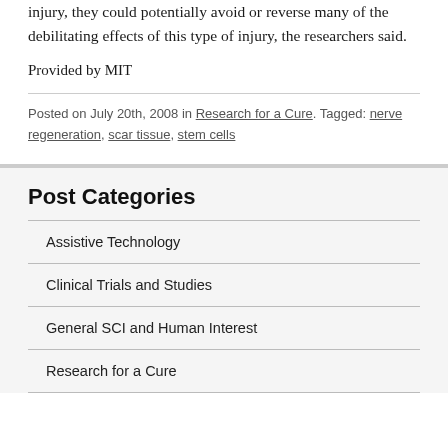injury, they could potentially avoid or reverse many of the debilitating effects of this type of injury, the researchers said.
Provided by MIT
Posted on July 20th, 2008 in Research for a Cure. Tagged: nerve regeneration, scar tissue, stem cells
Post Categories
Assistive Technology
Clinical Trials and Studies
General SCI and Human Interest
Research for a Cure